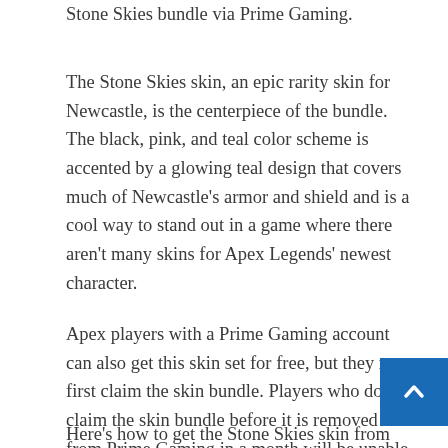Stone Skies bundle via Prime Gaming.
The Stone Skies skin, an epic rarity skin for Newcastle, is the centerpiece of the bundle. The black, pink, and teal color scheme is accented by a glowing teal design that covers much of Newcastle’s armor and shield and is a cool way to stand out in a game where there aren’t many skins for Apex Legends’ newest character.
Apex players with a Prime Gaming account can also get this skin set for free, but they must first claim the skin bundle. Players who do not claim the skin bundle before it is removed from Prime Gaming in a month will be unable to unlock the skin. Moreover, the Apex Legends Energy code can be used to purchase energy packs which ca... used to play the game more efficiently.
Here’s how to get the Stone Skies skin from Newcastle